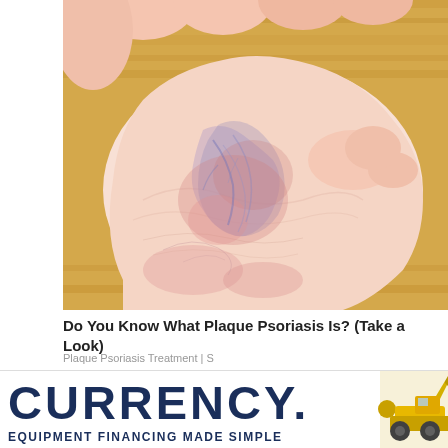[Figure (photo): Close-up photo of a human foot/ankle showing skin condition with reddish and bluish discoloration, consistent with plaque psoriasis, on a wooden floor background. A hand is holding the foot from above.]
Do You Know What Plaque Psoriasis Is? (Take a Look)
Plaque Psoriasis Treatment | S
[Figure (photo): Partial photo of an elderly person wearing a camouflage military hat, outdoors, partially visible.]
[Figure (photo): Advertisement banner for Currency equipment financing. Shows large bold text CURRENCY. with a gold dot, subtext EQUIPMENT FINANCING MADE SIMPLE, and a partial image of yellow construction equipment on the right.]